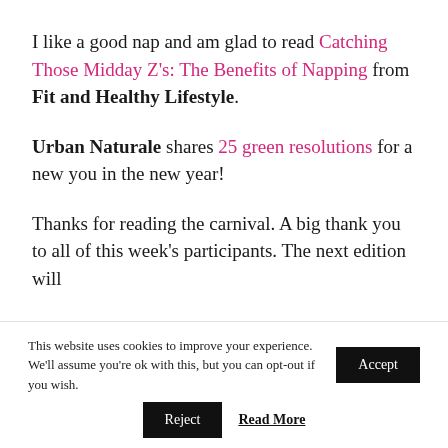I like a good nap and am glad to read Catching Those Midday Z's: The Benefits of Napping from Fit and Healthy Lifestyle.
Urban Naturale shares 25 green resolutions for a new you in the new year!
Thanks for reading the carnival. A big thank you to all of this week's participants. The next edition will
This website uses cookies to improve your experience. We'll assume you're ok with this, but you can opt-out if you wish.